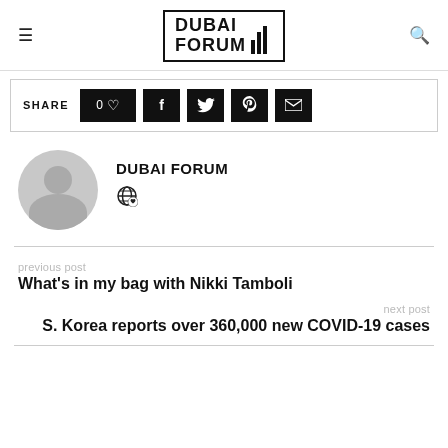DUBAI FORUM
SHARE  0♡  f  twitter  pinterest  email
DUBAI FORUM
[Figure (illustration): Globe/author icon]
previous post
What's in my bag with Nikki Tamboli
next post
S. Korea reports over 360,000 new COVID-19 cases